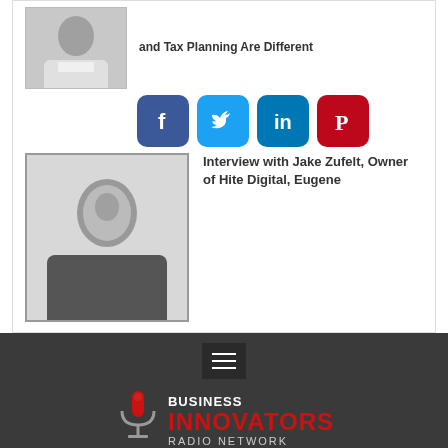and Tax Planning Are Different
[Figure (infographic): Social media share buttons: Facebook, Twitter, LinkedIn, Pinterest]
[Figure (photo): Portrait photo of Jake Zufelt]
Interview with Jake Zufelt, Owner of Hite Digital, Eugene
[Figure (logo): Business Innovators Radio Network logo with microphone icon]
Copyright 2022 , all rights reserved.